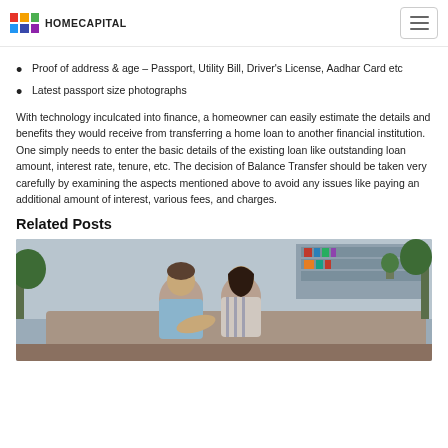HOMECAPITAL
Proof of address & age – Passport, Utility Bill, Driver's License, Aadhar Card etc
Latest passport size photographs
With technology inculcated into finance, a homeowner can easily estimate the details and benefits they would receive from transferring a home loan to another financial institution. One simply needs to enter the basic details of the existing loan like outstanding loan amount, interest rate, tenure, etc. The decision of Balance Transfer should be taken very carefully by examining the aspects mentioned above to avoid any issues like paying an additional amount of interest, various fees, and charges.
Related Posts
[Figure (photo): A couple sitting together looking at documents or a laptop, in a home setting with bookshelves and plants in the background]